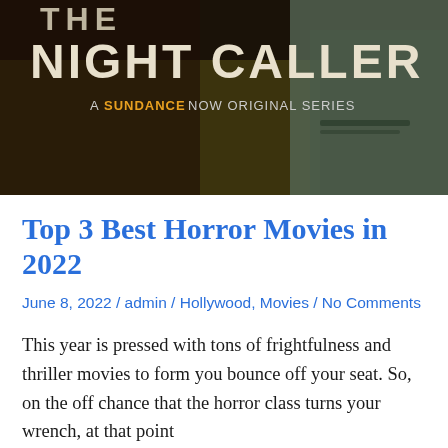[Figure (photo): Movie poster for 'The Night Caller', a Sundance Now original series. Shows large white text 'THE NIGHT CALLER' on dark background with a shadowy face on the right side. Text reads 'A SUNDANCE NOW ORIGINAL SERIES'.]
Top 3 Best Horror Movies in 2022
June 8, 2022 / admin / Hollywood, Movies / No Comments
This year is pressed with tons of frightfulness and thriller movies to form you bounce off your seat. So, on the off chance that the horror class turns your wrench, at that point